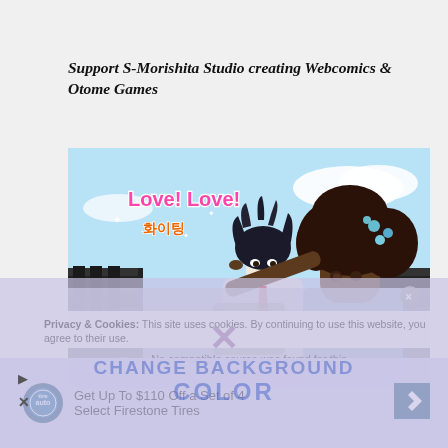Support S-Morishita Studio creating Webcomics & Otome Games
[Figure (illustration): Manga-style illustration titled 'Love! Love!' showing two characters: a dark-haired young man and a dark-skinned young woman with blue flowers in her hair. The woman is touching the man's chin. Blue sky background. Text overlay reads 'No compatible source was found for this media.' with a film camera icon and X button.]
Privacy & Cookies: This site uses cookies. By continuing to use this website, you agree to their use.
Get Up To $110 Off a Set of 4 Select Firestone Tires
[Figure (logo): TiresAuto circular logo]
[Figure (infographic): CHANGE BACKGROUND COLOR overlay text in semi-transparent purple/blue over the ad area, with X symbol above]